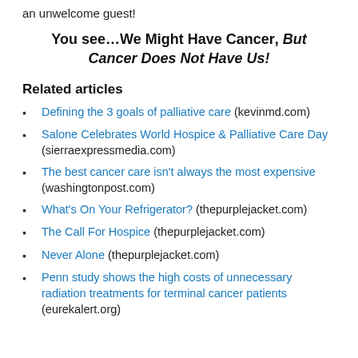an unwelcome guest!
You see…We Might Have Cancer, But Cancer Does Not Have Us!
Related articles
Defining the 3 goals of palliative care (kevinmd.com)
Salone Celebrates World Hospice & Palliative Care Day (sierraexpressmedia.com)
The best cancer care isn't always the most expensive (washingtonpost.com)
What's On Your Refrigerator? (thepurplejacket.com)
The Call For Hospice (thepurplejacket.com)
Never Alone (thepurplejacket.com)
Penn study shows the high costs of unnecessary radiation treatments for terminal cancer patients (eurekalert.org)